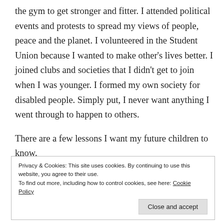the gym to get stronger and fitter. I attended political events and protests to spread my views of people, peace and the planet. I volunteered in the Student Union because I wanted to make other's lives better. I joined clubs and societies that I didn't get to join when I was younger. I formed my own society for disabled people. Simply put, I never want anything I went through to happen to others.
There are a few lessons I want my future children to know.
Privacy & Cookies: This site uses cookies. By continuing to use this website, you agree to their use. To find out more, including how to control cookies, see here: Cookie Policy